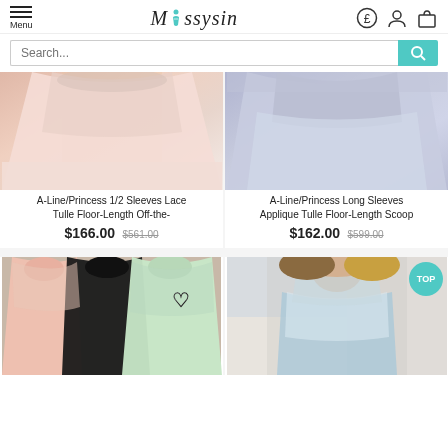Missysin - Menu, search, account and cart header
Search...
[Figure (photo): Pink/blush A-Line prom dress with lace detail, floor length]
A-Line/Princess 1/2 Sleeves Lace Tulle Floor-Length Off-the-
$166.00 $561.00
[Figure (photo): Blue/lavender A-Line prom dress with long sleeves and applique tulle]
A-Line/Princess Long Sleeves Applique Tulle Floor-Length Scoop
$162.00 $599.00
[Figure (photo): Three models in pink, black, and mint halter/scoop neck prom dresses]
[Figure (photo): Model in light blue lace cap sleeve prom dress, with TOP badge]